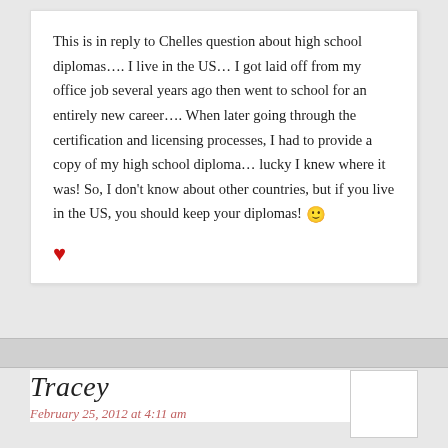This is in reply to Chelles question about high school diplomas…. I live in the US… I got laid off from my office job several years ago then went to school for an entirely new career…. When later going through the certification and licensing processes, I had to provide a copy of my high school diploma… lucky I knew where it was! So, I don't know about other countries, but if you live in the US, you should keep your diplomas! 🙂
♥
Tracey
February 25, 2012 at 4:11 am